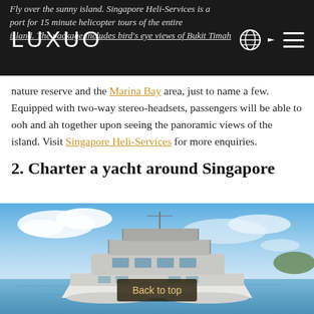LUXUO
nature reserve and the Marina Bay area, just to name a few. Equipped with two-way stereo-headsets, passengers will be able to ooh and ah together upon seeing the panoramic views of the island. Visit Singapore Heli-Services for more enquiries.
2. Charter a yacht around Singapore
[Figure (photo): A white luxury catamaran yacht on blue water with cloudy sky background, viewed from the front-side angle.]